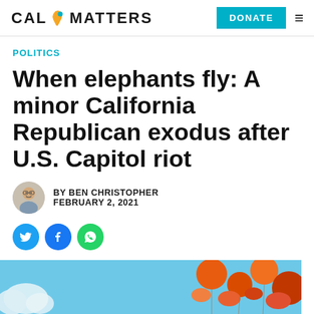CAL MATTERS | DONATE
POLITICS
When elephants fly: A minor California Republican exodus after U.S. Capitol riot
BY BEN CHRISTOPHER
FEBRUARY 2, 2021
[Figure (illustration): Colorful illustration showing orange and red flower-like shapes on a blue sky background, bottom of article image]
[Figure (photo): Small circular author headshot of Ben Christopher]